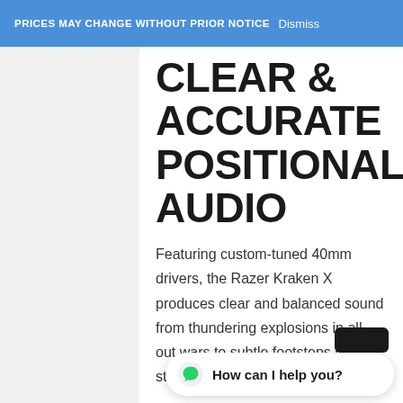PRICES MAY CHANGE WITHOUT PRIOR NOTICE Dismiss
CLEAR & ACCURATE POSITIONAL AUDIO
Featuring custom-tuned 40mm drivers, the Razer Kraken X produces clear and balanced sound from thundering explosions in all-out wars to subtle footsteps in stealthy covert operations.
How can I help you?